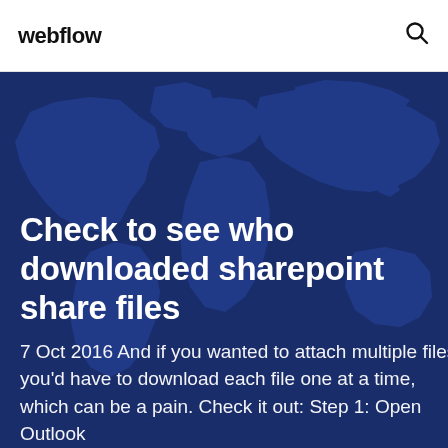webflow
[Figure (illustration): Dark blue world map silhouette used as hero background image]
Check to see who downloaded sharepoint share files
7 Oct 2016 And if you wanted to attach multiple files, you'd have to download each file one at a time, which can be a pain. Check it out: Step 1: Open Outlook